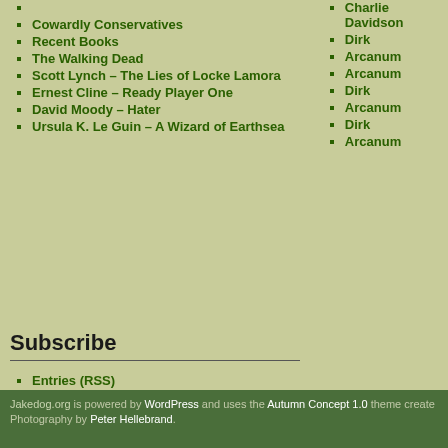Cowardly Conservatives
Recent Books
The Walking Dead
Scott Lynch – The Lies of Locke Lamora
Ernest Cline – Ready Player One
David Moody – Hater
Ursula K. Le Guin – A Wizard of Earthsea
Charlie Davidson
Dirk
Arcanum
Arcanum
Dirk
Arcanum
Dirk
Arcanum
Subscribe
Entries (RSS)
Comments (RSS)
Jakedog.org is powered by WordPress and uses the Autumn Concept 1.0 theme create... Photography by Peter Hellebrand.